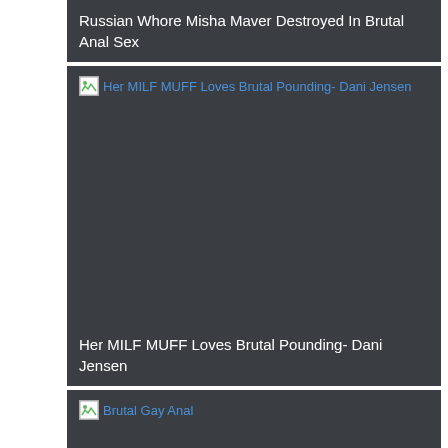Russian Whore Misha Maver Destroyed In Brutal Anal Sex
[Figure (other): Broken image placeholder with link text: Her MILF MUFF Loves Brutal Pounding- Dani Jensen]
Her MILF MUFF Loves Brutal Pounding- Dani Jensen
[Figure (other): Broken image placeholder with link text: Brutal Gay Anal]